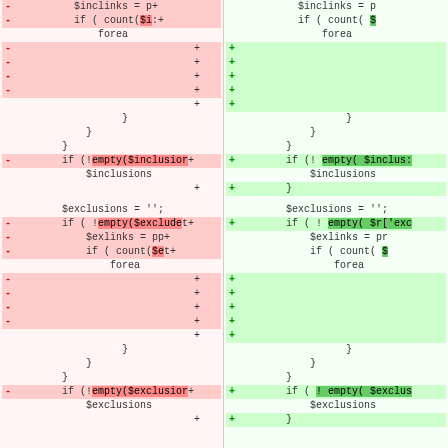[Figure (screenshot): A side-by-side code diff view showing PHP code changes. Left pane shows removed lines (red background with - markers), right pane shows added lines (green background with + markers). The diff shows changes to variables $inclinks, $inclusions, $exclusions, $exlinks, and $exclusions with modified empty() function calls and array access patterns.]